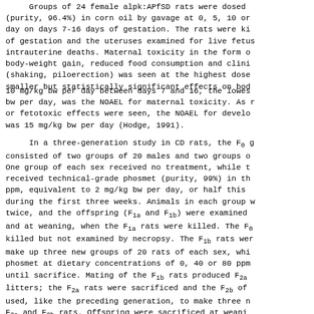Groups of 24 female alpk:APfSD rats were dosed (purity, 96.4%) in corn oil by gavage at 0, 5, 10 or day on days 7-16 days of gestation. The rats were ki of gestation and the uteruses examined for live fetus intrauterine deaths. Maternal toxicity in the form o body-weight gain, reduced food consumption and clini (shaking, piloerection) was seen at the highest dose smaller but statistically significant effects on bod
10 mg/kg bw per day between days 7 and 16, the lowes bw per day, was the NOAEL for maternal toxicity. As r or fetotoxic effects were seen, the NOAEL for develo was 15 mg/kg bw per day (Hodge, 1991).
In a three-generation study in CD rats, the F0 g consisted of two groups of 20 males and two groups o One group of each sex received no treatment, while t received technical-grade phosmet (purity, 99%) in th ppm, equivalent to 2 mg/kg bw per day, or half this during the first three weeks. Animals in each group w twice, and the offspring (F1a and F1b) were examined and at weaning, when the F1a rats were killed. The F0 killed but not examined by necropsy. The F1b rats wer make up three new groups of 20 rats of each sex, whi phosmet at dietary concentrations of 0, 40 or 80 ppm until sacrifice. Mating of the F1b rats produced F2a litters; the F2a rats were sacrificed and the F2b of used, like the preceding generation, to make three n F2a and F2b rats. Offspring were sacrificed at weani